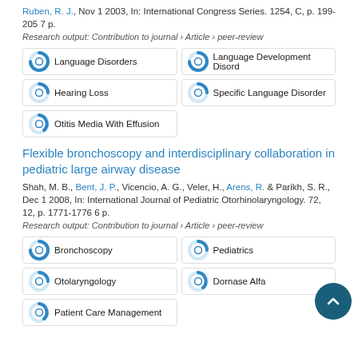Ruben, R. J., Nov 1 2003, In: International Congress Series. 1254, C, p. 199-205 7 p.
Research output: Contribution to journal › Article › peer-review
[Figure (infographic): Keyword badges: Language Disorders (100%), Language Development Disorders (100%), Hearing Loss (50%), Specific Language Disorder (50%), Otitis Media With Effusion (25%)]
Flexible bronchoscopy and interdisciplinary collaboration in pediatric large airway disease
Shah, M. B., Bent, J. P., Vicencio, A. G., Veler, H., Arens, R. & Parikh, S. R., Dec 1 2008, In: International Journal of Pediatric Otorhinolaryngology. 72, 12, p. 1771-1776 6 p.
Research output: Contribution to journal › Article › peer-review
[Figure (infographic): Keyword badges: Bronchoscopy (100%), Pediatrics (65%), Otolaryngology (50%), Dornase Alfa (25%), Patient Care Management (25%)]